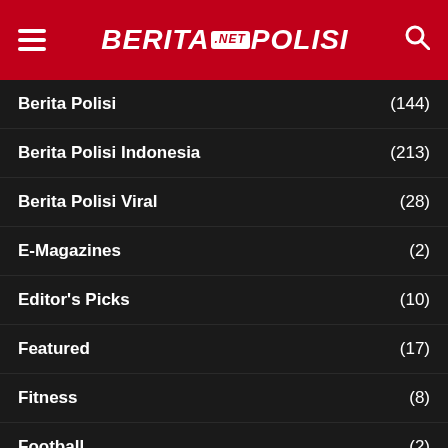BeritaNetPolisi (navigation header with hamburger menu, logo, and search icon)
Berita Polisi (144)
Berita Polisi Indonesia (213)
Berita Polisi Viral (28)
E-Magazines (2)
Editor's Picks (10)
Featured (17)
Fitness (8)
Football (2)
Hukum Dan Kriminal (5)
Jejak Digital (7)
Lalu Lintas (1)
Pakar SEO (1)
Polwan (6)